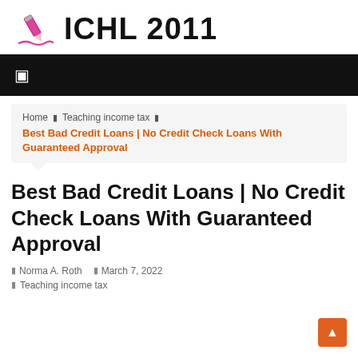ICHL 2011
[Figure (other): Black navigation bar with a white menu/hamburger icon on the left]
Home › Teaching income tax › Best Bad Credit Loans | No Credit Check Loans With Guaranteed Approval
Best Bad Credit Loans | No Credit Check Loans With Guaranteed Approval
Norma A. Roth   March 7, 2022
Teaching income tax